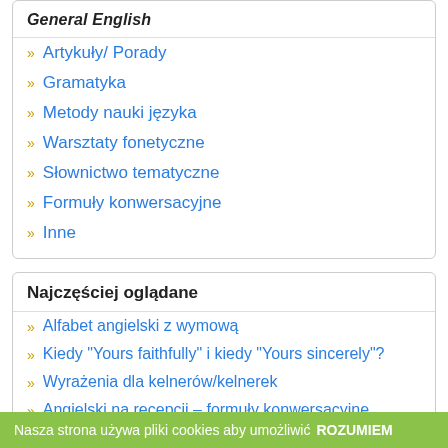General English
Artykuły/ Porady
Gramatyka
Metody nauki języka
Warsztaty fonetyczne
Słownictwo tematyczne
Formuły konwersacyjne
Inne
Najczęściej oglądane
Alfabet angielski z wymową
Kiedy "Yours faithfully" i kiedy "Yours sincerely"?
Wyrażenia dla kelnerów/kelnerek
Angielski na recepcji – formuły konwersacyjne
6 najlepszych stron, dzięki którym poćwiczysz mówienie po angielsku.
Nasza strona używa pliki cookies aby umożliwić ROZUMIEM